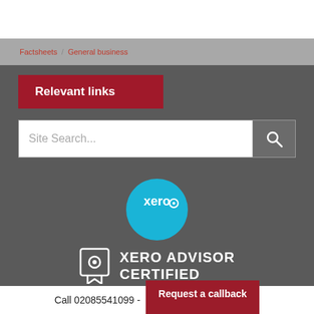Factsheets / General business
Relevant links
Site Search...
[Figure (logo): Xero Advisor Certified logo with Xero circle icon and badge icon with text XERO ADVISOR CERTIFIED]
Call 02085541099 - Request a callback